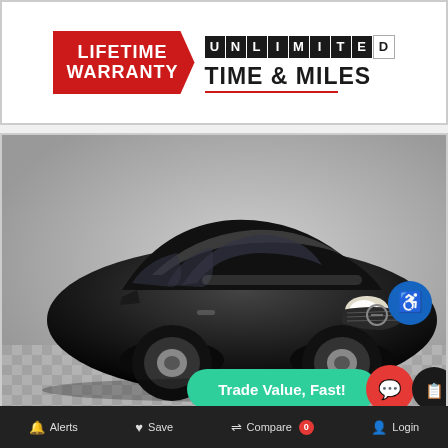[Figure (logo): Lifetime Warranty badge with red pentagon shape on the left, and 'UNLIMITED TIME & MILES' text on the right with individual block letters]
[Figure (photo): Black Nissan Kicks SUV photographed on a checkered floor from a front 3/4 angle. Overlay buttons include a blue accessibility icon, red chat bubble icon, dark chat/compare icon, and a green 'Trade Value, Fast!' button at the bottom.]
Alerts  Save  Compare 0  Login